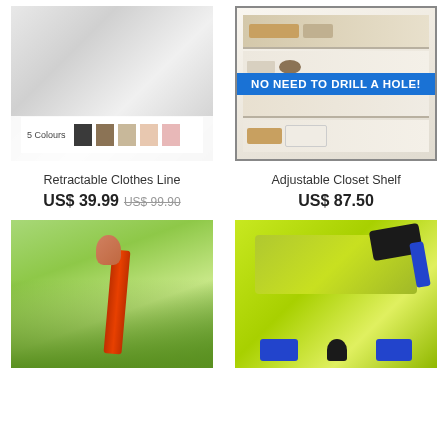[Figure (photo): Retractable clothes line mounted on wall with white shirts hanging, showing 5 colour swatches at bottom]
[Figure (photo): Adjustable closet shelf unit with items stored, blue banner reading NO NEED TO DRILL A HOLE!]
Retractable Clothes Line
US$ 39.99 US$ 99.90
Adjustable Closet Shelf
US$ 87.50
[Figure (photo): Hand pulling a red spiral screw anchor into green grass with sunlight in background]
[Figure (photo): Paint roller kit with blue foam rollers and accessories on lime green painted surface]